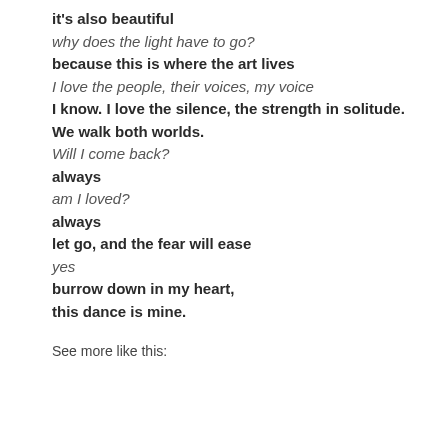it's also beautiful
why does the light have to go?
because this is where the art lives
I love the people, their voices, my voice
I know. I love the silence, the strength in solitude. We walk both worlds.
Will I come back?
always
am I loved?
always
let go, and the fear will ease
yes
burrow down in my heart,
this dance is mine.
See more like this: